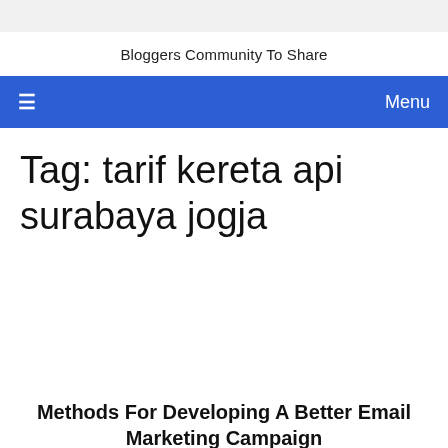Bloggers Community To Share
≡   Menu
Tag: tarif kereta api surabaya jogja
Methods For Developing A Better Email Marketing Campaign